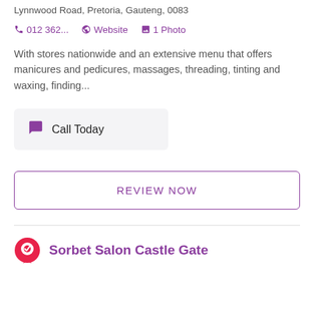Lynnwood Road, Pretoria, Gauteng, 0083
012 362...   Website   1 Photo
With stores nationwide and an extensive menu that offers manicures and pedicures, massages, threading, tinting and waxing, finding...
Call Today
REVIEW NOW
Sorbet Salon Castle Gate